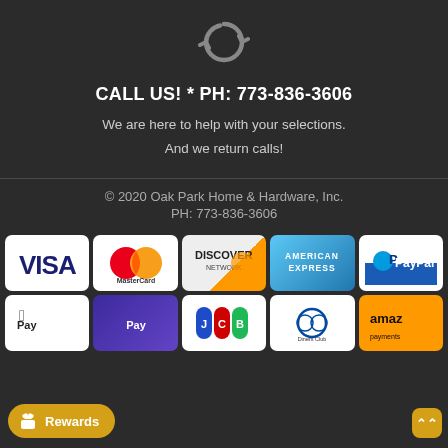[Figure (illustration): Gray circular refresh/sync arrow icon]
CALL US! * PH: 773-836-3606
We are here to help with your selections.
And we return calls!
© 2020 Oak Park Home & Hardware, Inc.
PH: 773-836-3606
[Figure (illustration): Payment method logos: Visa, MasterCard, Discover Network, American Express, PayPal, Apple Pay, Samsung Pay, JCB, Diners Club, Amazon Payments]